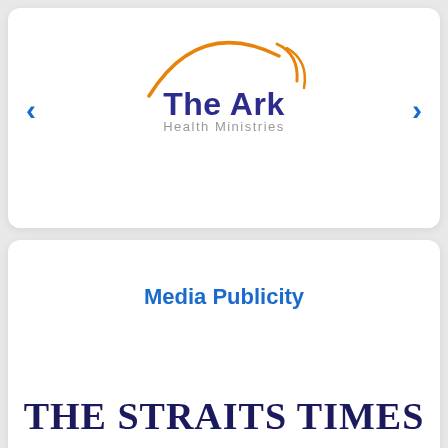[Figure (logo): The Ark Health Ministries logo with orange arc graphic, dark blue bold 'The Ark' text, grey 'Health Ministries' subtitle, and navigation arrows on left and right]
Media Publicity
THE STRAITS TIMES